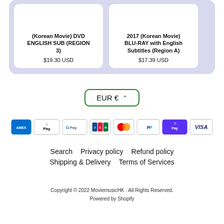(Korean Movie) DVD ENGLISH SUB (REGION 3)
$19.30 USD
2017 (Korean Movie) BLU-RAY with English Subtitles (Region A)
$17.39 USD
EUR €
[Figure (infographic): Payment method icons: American Express, Apple Pay, Google Pay, JCB, Mastercard, PayPal, Shop Pay, Visa]
Search   Privacy policy   Refund policy
Shipping & Delivery   Terms of Services
Copyright © 2022 MoviemusicHK . All Rights Reserved.
Powered by Shopify